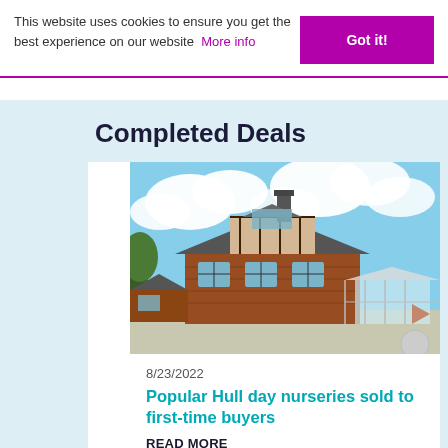This website uses cookies to ensure you get the best experience on our website  More info
Got it!
Completed Deals
[Figure (photo): Exterior photo of a red-brick Tudor-style building with chimney, dormer windows, a conservatory extension on the right, and a cloudy blue sky background.]
8/23/2022
Popular Hull day nurseries sold to first-time buyers
READ MORE